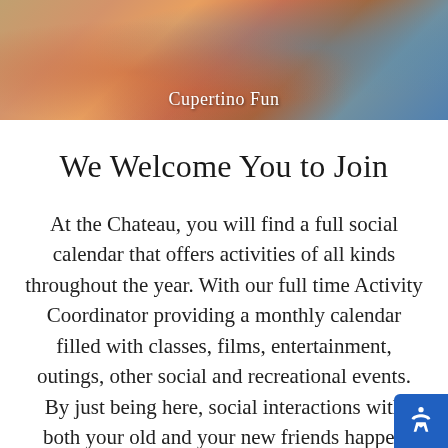[Figure (photo): Photo of people at Cupertino Fun event, showing person in orange striped shirt with jewelry, and another person in blue]
Cupertino Fun
We Welcome You to Join
At the Chateau, you will find a full social calendar that offers activities of all kinds throughout the year. With our full time Activity Coordinator providing a monthly calendar filled with classes, films, entertainment, outings, other social and recreational events. By just being here, social interactions with both your old and your new friends happen naturally. However, when you need a little down time, you can retreat to your apartment and enjoy your own privacy and